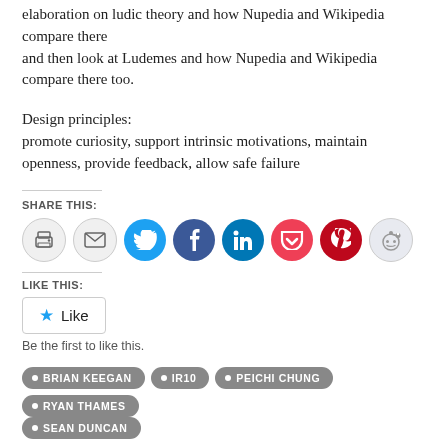elaboration on ludic theory and how Nupedia and Wikipedia compare there and then look at Ludemes and how Nupedia and Wikipedia compare there too.
Design principles:
promote curiosity, support intrinsic motivations, maintain openness, provide feedback, allow safe failure
SHARE THIS:
[Figure (infographic): Row of social sharing icon buttons: print, email, Twitter, Facebook, LinkedIn, Pocket, Pinterest, Reddit]
LIKE THIS:
[Figure (infographic): Like button widget with star icon and 'Like' label]
Be the first to like this.
Tags: BRIAN KEEGAN, IR10, PEICHI CHUNG, RYAN THAMES, SEAN DUNCAN